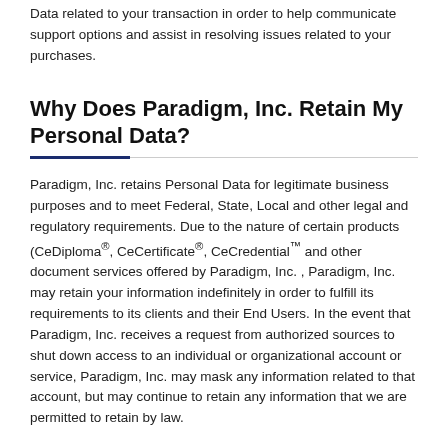Data related to your transaction in order to help communicate support options and assist in resolving issues related to your purchases.
Why Does Paradigm, Inc. Retain My Personal Data?
Paradigm, Inc. retains Personal Data for legitimate business purposes and to meet Federal, State, Local and other legal and regulatory requirements. Due to the nature of certain products (CeDiploma®, CeCertificate®, CeCredential™ and other document services offered by Paradigm, Inc. , Paradigm, Inc. may retain your information indefinitely in order to fulfill its requirements to its clients and their End Users. In the event that Paradigm, Inc. receives a request from authorized sources to shut down access to an individual or organizational account or service, Paradigm, Inc. may mask any information related to that account, but may continue to retain any information that we are permitted to retain by law.